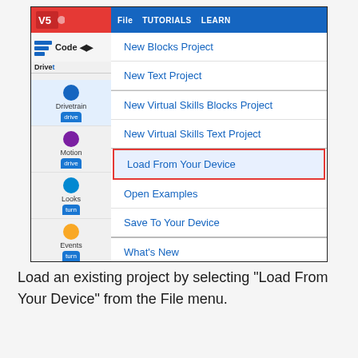[Figure (screenshot): Screenshot of VEX VR coding environment File menu open, showing options: New Blocks Project, New Text Project, New Virtual Skills Blocks Project, New Virtual Skills Text Project, Load From Your Device (highlighted with red border), Open Examples, Save To Your Device, What's New, About. Left sidebar shows Drivetrain, Motion, Looks, Events, Control, Sensing categories with colored circle icons.]
Load an existing project by selecting “Load From Your Device” from the File menu.